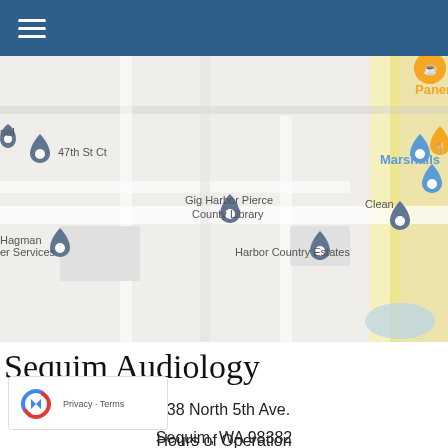≡ (navigation menu)
[Figure (map): Google Maps view showing Gig Harbor area with markers for Panera Bread, Marshalls, HomeGoods, Gig Harbor Pierce County Library, Harbor Country Estates, Hagman Services, and Clean. Roads include 47th St Ct.]
Sequim Audiology
538 North 5th Ave.
Sequim, WA 98382
Phone:
(360) 681-7500
Fax: (360) 681-7717
Hours of Operation
[Figure (logo): reCAPTCHA badge with recycling arrows icon and Privacy · Terms text]